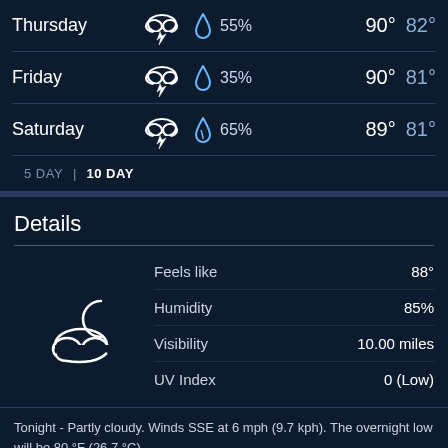| Day | Condition | Precip | High | Low |
| --- | --- | --- | --- | --- |
| Thursday | Thunderstorm | 55% | 90° | 82° |
| Friday | Thunderstorm | 35% | 90° | 81° |
| Saturday | Thunderstorm | 65% | 89° | 81° |
5 DAY  |  10 DAY
Details
Feels like  88°
Humidity  85%
Visibility  10.00 miles
UV Index  0 (Low)
Tonight - Partly cloudy. Winds SSE at 6 mph (9.7 kph). The overnight low will be 80 °F (26.7 °C).
Today - Partly cloudy with a high of 90 °F (32.2 °C). Winds variable at 6 to 9 mph (9.7 to 14.5 kph).